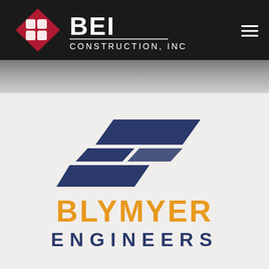[Figure (logo): BEI Construction, Inc. logo on dark navigation bar. Red diamond shape with white interlocking squares, beside bold white BEI text and CONSTRUCTION, INC subtitle. Hamburger menu icon top right.]
[Figure (logo): Blymyer Engineers logo. Abstract dark blue parallelogram shapes forming a chevron/speed symbol. BLYMYER in large orange bold uppercase letters. ENGINEERS in dark navy spaced uppercase letters below.]